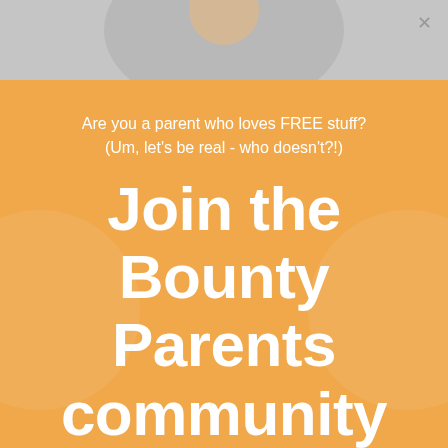[Figure (photo): Top portion of page showing a background photo (baby/parent), partially visible, with grey/muted tones, overlaid by orange background below]
Are you a parent who loves FREE stuff?
(Um, let's be real - who doesn't?!)
Join the Bounty Parents community and be rewarded!